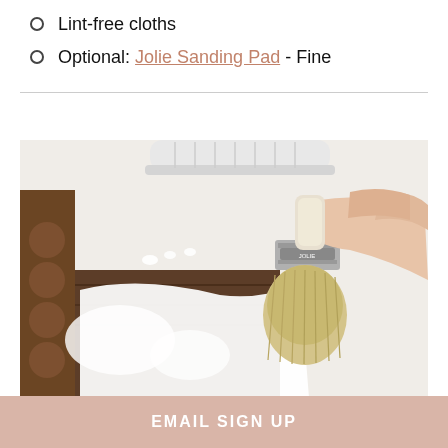Lint-free cloths
Optional: Jolie Sanding Pad - Fine
[Figure (photo): A hand holding a round paintbrush applying white chalk paint to a dark wooden surface, with a white paint roller also visible.]
EMAIL SIGN UP